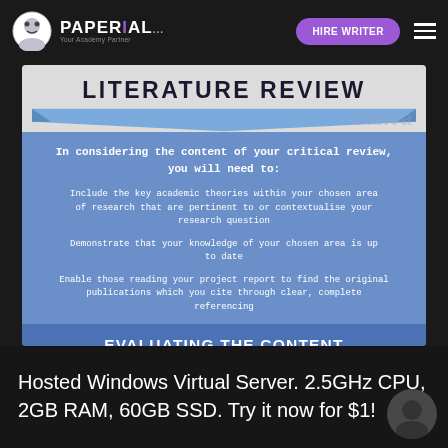PAPERIAL.com — HIRE WRITER
LITERATURE REVIEW
In considering the content of your critical review, you will need to:
Include the key academic theories within your chosen area of research that are pertinent to or contextualise your research question
Demonstrate that your knowledge of your chosen area is up to date
Enable those reading your project report to find the original publications which you cite through clear, complete referencing
EVALUATING THE CONTENT OF YOUR CRITICAL REVIEW
Have you ensured that the literature covered relates clearly to your research
Hosted Windows Virtual Server. 2.5GHz CPU, 2GB RAM, 60GB SSD. Try it now for $1!